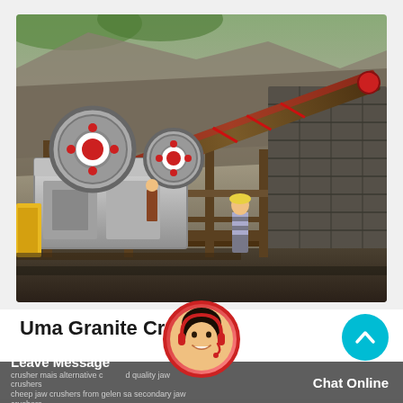[Figure (photo): Photograph of a granite crusher/jaw crusher machine at a quarry site. Industrial mining equipment with conveyor belt, large red and white flywheels, metal scaffolding, and a person standing near the machinery. Rock wall visible on the right side.]
Uma Granite Crusher
crusher mais alternative c d quality jaw crushers cheep jaw crushers from gelen sa secondary jaw crushers
Leave Message
Chat Online